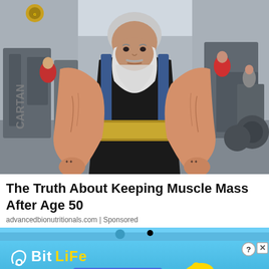[Figure (photo): An elderly muscular man with a white beard wearing a black sleeveless shirt and a gold weightlifting belt, posing in a gym with his arms raised to show his muscular forearms. He has tattoos on his hands. The gym has various equipment and other gym-goers in the background.]
The Truth About Keeping Muscle Mass After Age 50
advancedbionutritionals.com | Sponsored
[Figure (photo): Partial view of a second image strip showing a blue sky scene.]
[Figure (other): BitLife advertisement banner. Shows BitLife logo with swirl icon and yellow text on blue background. Text reads: NOW WITH GOD MODE (with a lightning bolt). Yellow thumbs-up hand illustration on the right. Close (X) and question mark buttons in top right corner.]